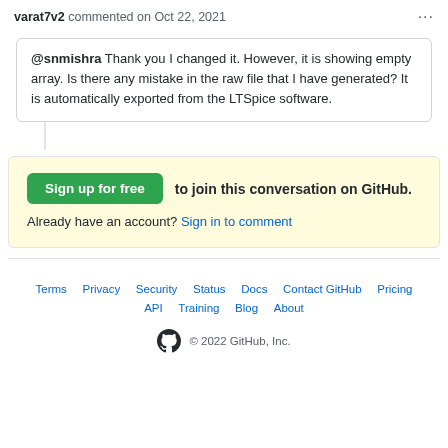varat7v2 commented on Oct 22, 2021
@snmishra Thank you I changed it. However, it is showing empty array. Is there any mistake in the raw file that I have generated? It is automatically exported from the LTSpice software.
Sign up for free to join this conversation on GitHub. Already have an account? Sign in to comment
Terms · Privacy · Security · Status · Docs · Contact GitHub · Pricing · API · Training · Blog · About · © 2022 GitHub, Inc.